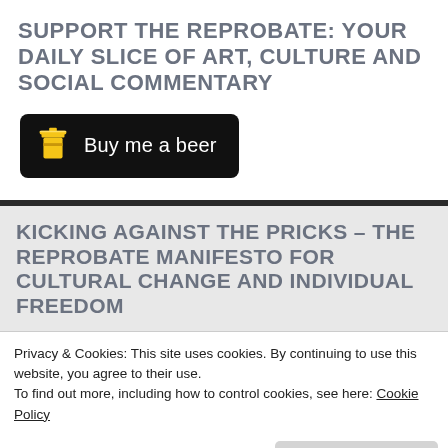SUPPORT THE REPROBATE: YOUR DAILY SLICE OF ART, CULTURE AND SOCIAL COMMENTARY
[Figure (other): Black button with coffee cup icon and text 'Buy me a beer']
KICKING AGAINST THE PRICKS – THE REPROBATE MANIFESTO FOR CULTURAL CHANGE AND INDIVIDUAL FREEDOM
Privacy & Cookies: This site uses cookies. By continuing to use this website, you agree to their use.
To find out more, including how to control cookies, see here: Cookie Policy
Close and accept
[Figure (photo): Partial photo visible at bottom of page, dark toned image]